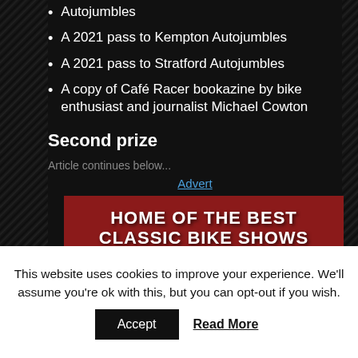Autojumbles
A 2021 pass to Kempton Autojumbles
A 2021 pass to Stratford Autojumbles
A copy of Café Racer bookazine by bike enthusiast and journalist Michael Cowton
Second prize
Article continues below...
Advert
[Figure (photo): Advertisement banner showing 'HOME OF THE BEST CLASSIC BIKE SHOWS' in white bold text on a dark red/maroon background with blurred motorcycles.]
This website uses cookies to improve your experience. We'll assume you're ok with this, but you can opt-out if you wish.
Accept
Read More